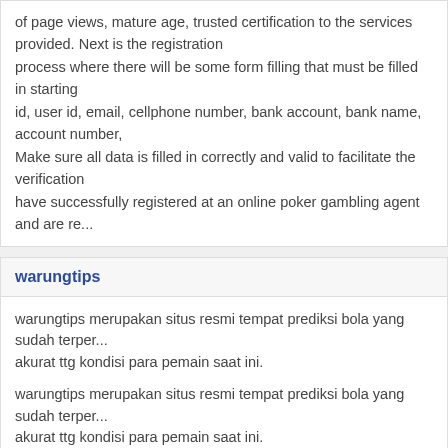of page views, mature age, trusted certification to the services provided. Next is the registration process where there will be some form filling that must be filled in starting from full name, member id, user id, email, cellphone number, bank account, bank name, account number, and password. Make sure all data is filled in correctly and valid to facilitate the verification process. Once you have successfully registered at an online poker gambling agent and are re
warungtips
warungtips merupakan situs resmi tempat prediksi bola yang sudah terper... akurat ttg kondisi para pemain saat ini.

warungtips merupakan situs resmi tempat prediksi bola yang sudah terper... akurat ttg kondisi para pemain saat ini.
quocvuong
Đại lý xe tải Hyundai
vipstatus.in
i loved this type of post. seo friendly article